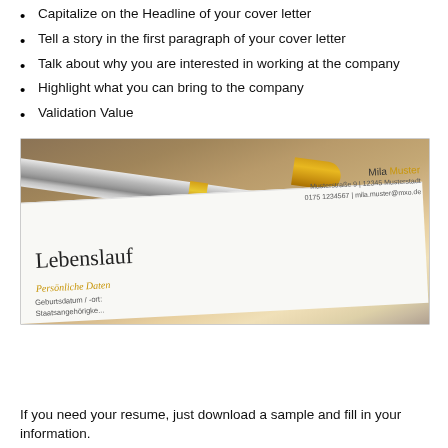Capitalize on the Headline of your cover letter
Tell a story in the first paragraph of your cover letter
Talk about why you are interested in working at the company
Highlight what you can bring to the company
Validation Value
[Figure (photo): A gold and silver pen resting on a German resume (Lebenslauf) document on a wooden desk]
If you need your resume, just download a sample and fill in your information.